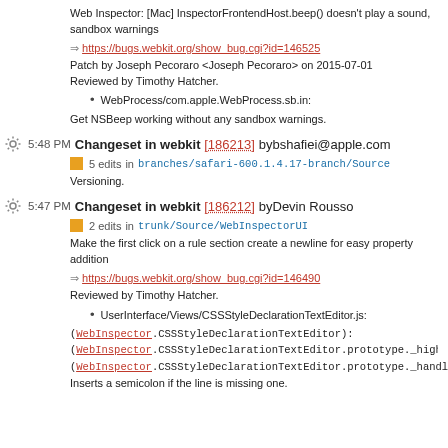Web Inspector: [Mac] InspectorFrontendHost.beep() doesn't play a sound, sandbox warnings
⇒ https://bugs.webkit.org/show_bug.cgi?id=146525
Patch by Joseph Pecoraro <Joseph Pecoraro> on 2015-07-01
Reviewed by Timothy Hatcher.
WebProcess/com.apple.WebProcess.sb.in:
Get NSBeep working without any sandbox warnings.
5:48 PM Changeset in webkit [186213] by bshafiei@apple.com
5 edits in branches/safari-600.1.4.17-branch/Source
Versioning.
5:47 PM Changeset in webkit [186212] by Devin Rousso
2 edits in trunk/Source/WebInspectorUI
Make the first click on a rule section create a newline for easy property addition
⇒ https://bugs.webkit.org/show_bug.cgi?id=146490
Reviewed by Timothy Hatcher.
UserInterface/Views/CSSStyleDeclarationTextEditor.js:
(WebInspector.CSSStyleDeclarationTextEditor):
(WebInspector.CSSStyleDeclarationTextEditor.prototype._highlightNextNameO
(WebInspector.CSSStyleDeclarationTextEditor.prototype._handleEnterKey):
Inserts a semicolon if the line is missing one.